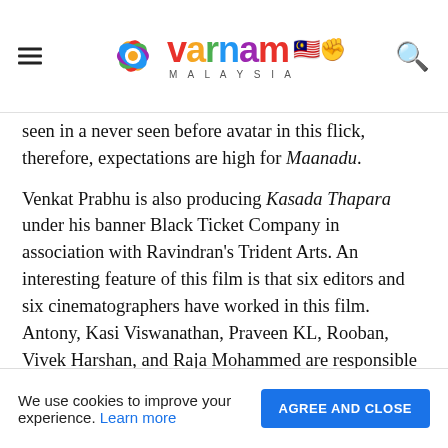Varnam Malaysia
seen in a never seen before avatar in this flick, therefore, expectations are high for Maanadu.
Venkat Prabhu is also producing Kasada Thapara under his banner Black Ticket Company in association with Ravindran's Trident Arts. An interesting feature of this film is that six editors and six cinematographers have worked in this film. Antony, Kasi Viswanathan, Praveen KL, Rooban, Vivek Harshan, and Raja Mohammed are responsible for the film's editing and MS Prabhu, Vijay Milton, RD Rajasekhar, SR Kathir, Balasubramaniem and Sakthi Saravanan have handled the camera.
We use cookies to improve your experience. Learn more  AGREE AND CLOSE